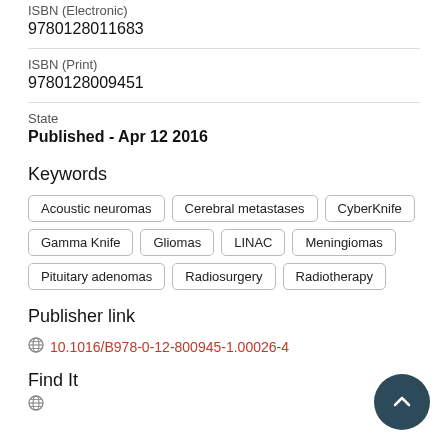ISBN (Electronic)
9780128011683
ISBN (Print)
9780128009451
State
Published - Apr 12 2016
Keywords
Acoustic neuromas
Cerebral metastases
CyberKnife
Gamma Knife
Gliomas
LINAC
Meningiomas
Pituitary adenomas
Radiosurgery
Radiotherapy
Publisher link
10.1016/B978-0-12-800945-1.00026-4
Find It